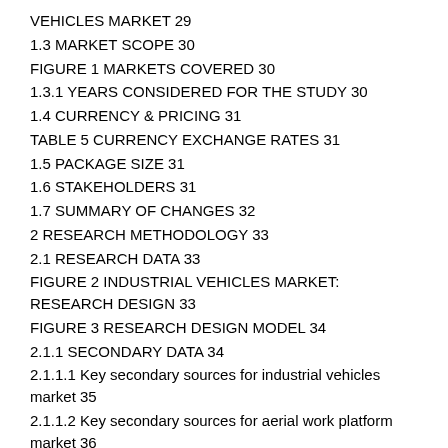VEHICLES MARKET 29
1.3 MARKET SCOPE 30
FIGURE 1 MARKETS COVERED 30
1.3.1 YEARS CONSIDERED FOR THE STUDY 30
1.4 CURRENCY & PRICING 31
TABLE 5 CURRENCY EXCHANGE RATES 31
1.5 PACKAGE SIZE 31
1.6 STAKEHOLDERS 31
1.7 SUMMARY OF CHANGES 32
2 RESEARCH METHODOLOGY 33
2.1 RESEARCH DATA 33
FIGURE 2 INDUSTRIAL VEHICLES MARKET: RESEARCH DESIGN 33
FIGURE 3 RESEARCH DESIGN MODEL 34
2.1.1 SECONDARY DATA 34
2.1.1.1 Key secondary sources for industrial vehicles market 35
2.1.1.2 Key secondary sources for aerial work platform market 36
2.1.1.3 Key data from secondary sources 36